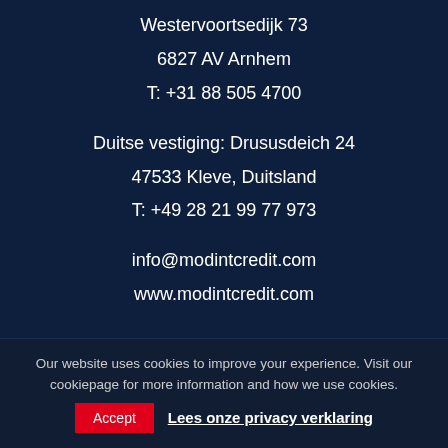Westervoortsedijk 73
6827 AV Arnhem
T: +31 88 505 4700
Duitse vestiging: Drususdeich 24
47533 Kleve, Duitsland
T: +49 28 21 99 77 973
info@modintcredit.com
www.modintcredit.com
[Figure (illustration): Three white circular social media icons on dark navy background: LinkedIn, Twitter, Facebook]
Our website uses cookies to improve your experience. Visit our cookiepage for more information and how we use cookies.
Accept   Lees onze privacy verklaring